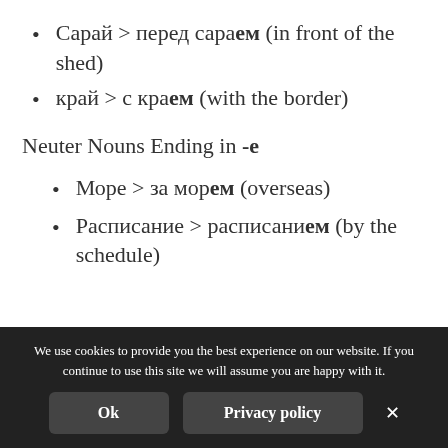Сарай > перед сараем (in front of the shed)
край > с краем (with the border)
Neuter Nouns Ending in -e
Море > за морем (overseas)
Расписание > расписанием (by the schedule)
We use cookies to provide you the best experience on our website. If you continue to use this site we will assume you are happy with it.